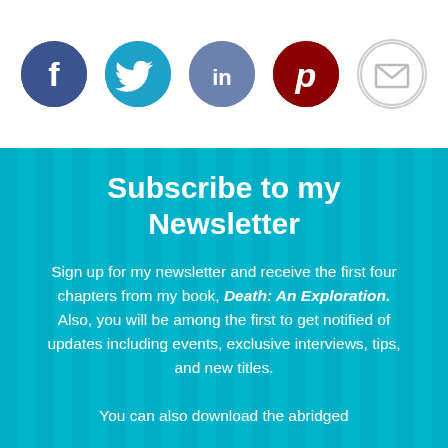[Figure (infographic): Five social media sharing icons in a row: Facebook (dark blue circle with 'f'), Twitter (light blue circle with bird icon), LinkedIn (medium blue circle with 'in'), Pinterest (dark red circle with 'p'), and Email (white circle with envelope icon outline)]
Subscribe to my Newsletter
Sign up for my newsletter and receive the first four chapters from my book, Death: An Exploration. Also, you will be among the first to get notified of updates including events, exclusive interviews, tips, and new titles.
You can also download the abridged